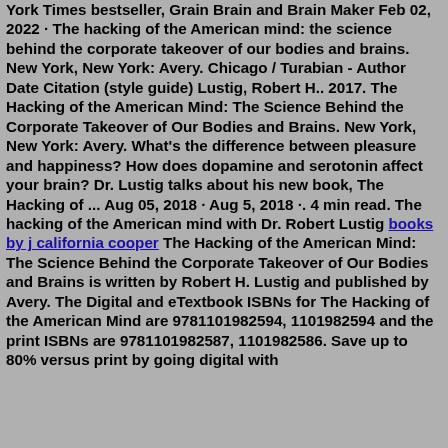York Times bestseller, Grain Brain and Brain Maker Feb 02, 2022 · The hacking of the American mind: the science behind the corporate takeover of our bodies and brains. New York, New York: Avery. Chicago / Turabian - Author Date Citation (style guide) Lustig, Robert H.. 2017. The Hacking of the American Mind: The Science Behind the Corporate Takeover of Our Bodies and Brains. New York, New York: Avery. What's the difference between pleasure and happiness? How does dopamine and serotonin affect your brain? Dr. Lustig talks about his new book, The Hacking of ... Aug 05, 2018 · Aug 5, 2018 ·. 4 min read. The hacking of the American mind with Dr. Robert Lustig books by j california cooper The Hacking of the American Mind: The Science Behind the Corporate Takeover of Our Bodies and Brains is written by Robert H. Lustig and published by Avery. The Digital and eTextbook ISBNs for The Hacking of the American Mind are 9781101982594, 1101982594 and the print ISBNs are 9781101982587, 1101982586. Save up to 80% versus print by going digital with